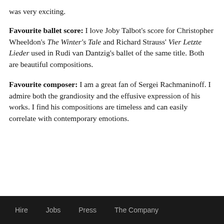was very exciting.
Favourite ballet score: I love Joby Talbot's score for Christopher Wheeldon's The Winter's Tale and Richard Strauss' Vier Letzte Lieder used in Rudi van Dantzig's ballet of the same title. Both are beautiful compositions.
Favourite composer: I am a great fan of Sergei Rachmaninoff. I admire both the grandiosity and the effusive expression of his works. I find his compositions are timeless and can easily correlate with contemporary emotions.
Hire   Jobs   Press   The Company